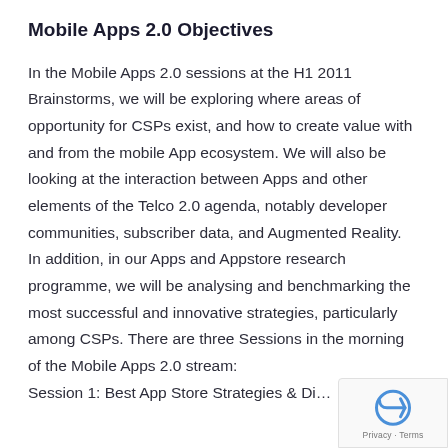Mobile Apps 2.0 Objectives
In the Mobile Apps 2.0 sessions at the H1 2011 Brainstorms, we will be exploring where areas of opportunity for CSPs exist, and how to create value with and from the mobile App ecosystem. We will also be looking at the interaction between Apps and other elements of the Telco 2.0 agenda, notably developer communities, subscriber data, and Augmented Reality. In addition, in our Apps and Appstore research programme, we will be analysing and benchmarking the most successful and innovative strategies, particularly among CSPs. There are three Sessions in the morning of the Mobile Apps 2.0 stream:
Session 1: Best App Store Strategies & Di…